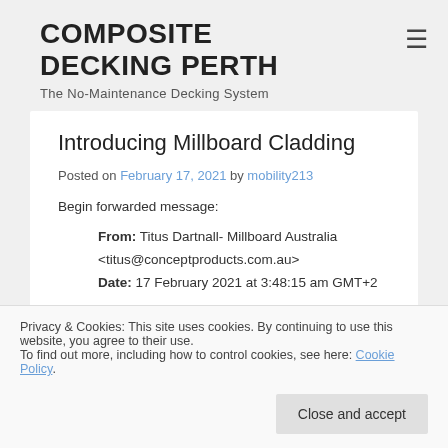COMPOSITE DECKING PERTH
The No-Maintenance Decking System
Introducing Millboard Cladding
Posted on February 17, 2021 by mobility213
Begin forwarded message:
From: Titus Dartnall- Millboard Australia <titus@conceptproducts.com.au>
Date: 17 February 2021 at 3:48:15 am GMT+2
Privacy & Cookies: This site uses cookies. By continuing to use this website, you agree to their use.
To find out more, including how to control cookies, see here: Cookie Policy
Close and accept